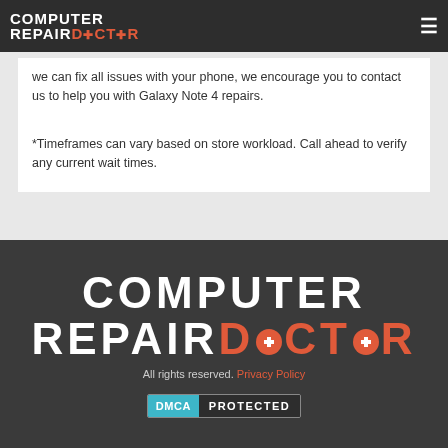Computer Repair Doctor
we can fix all issues with your phone, we encourage you to contact us to help you with Galaxy Note 4 repairs.
*Timeframes can vary based on store workload. Call ahead to verify any current wait times.
[Figure (logo): Computer Repair Doctor logo - large white and orange text on dark background]
All rights reserved. Privacy Policy
[Figure (other): DMCA Protected badge]